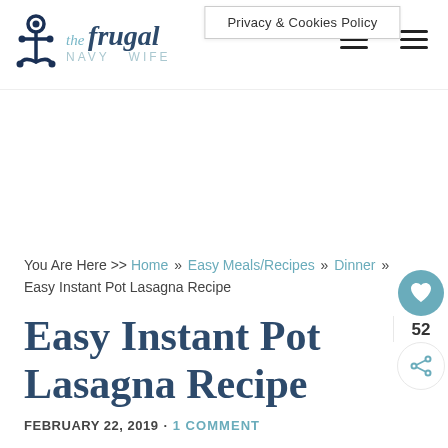Privacy & Cookies Policy
[Figure (logo): The Frugal Navy Wife logo with anchor icon]
You Are Here >> Home » Easy Meals/Recipes » Dinner » Easy Instant Pot Lasagna Recipe
Easy Instant Pot Lasagna Recipe
FEBRUARY 22, 2019 · 1 COMMENT